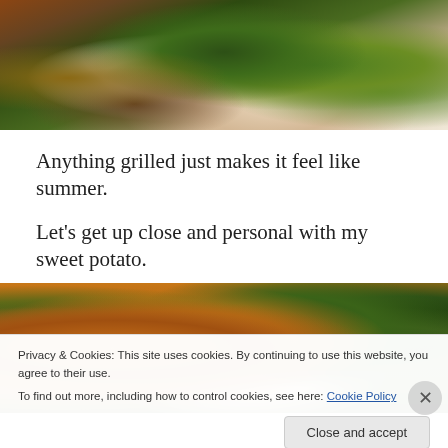[Figure (photo): Close-up photo of grilled food with green herb topping on a colorful striped plate, partially visible at top of page]
Anything grilled just makes it feel like summer.
Let's get up close and personal with my sweet potato.
[Figure (photo): Close-up photo of sweet potato with broccoli on a colorful striped plate]
Privacy & Cookies: This site uses cookies. By continuing to use this website, you agree to their use.
To find out more, including how to control cookies, see here: Cookie Policy